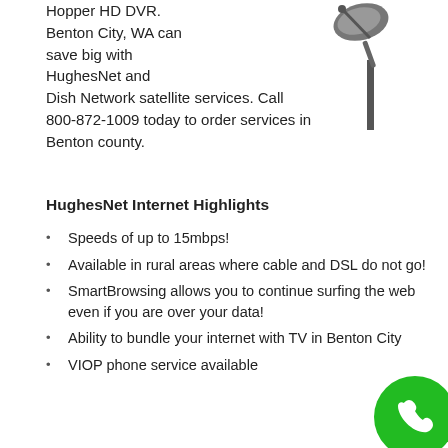Hopper HD DVR. Benton City, WA can save big with HughesNet and Dish Network satellite services. Call 800-872-1009 today to order services in Benton county.
[Figure (illustration): Satellite dish on a pole, dark gray color, viewed from below at an angle]
HughesNet Internet Highlights
Speeds of up to 15mbps!
Available in rural areas where cable and DSL do not go!
SmartBrowsing allows you to continue surfing the web even if you are over your data!
Ability to bundle your internet with TV in Benton City
VIOP phone service available
Order HughesNet in Benton City, WA (800)-872-1009
Best Satellite Internet Provider in Benton City
Why settle for mediocre? HughesNet is a household name that has been satisfying customers for years. Hu... the latest and greatest technology, 24/7 customer...